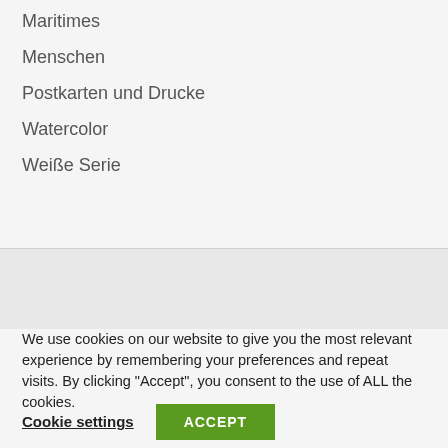Maritimes
Menschen
Postkarten und Drucke
Watercolor
Weiße Serie
We use cookies on our website to give you the most relevant experience by remembering your preferences and repeat visits. By clicking "Accept", you consent to the use of ALL the cookies.
Cookie settings   ACCEPT